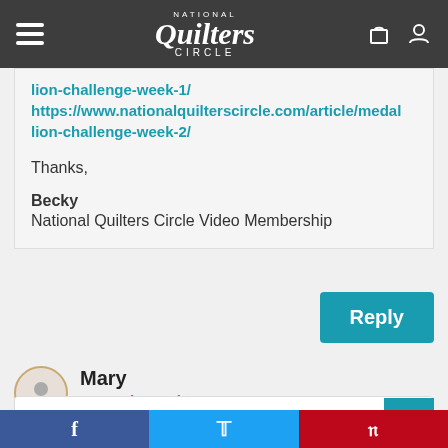National Quilters Circle
lion-challenge-week-1/
https://www.nationalquilterscircle.com/article/medallion-challenge-week-2/
Thanks,

Becky
National Quilters Circle Video Membership
Reply
Mary
November 3rd, 2018
If comments are required, mark this box as such.